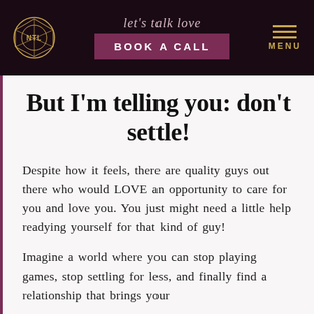[Figure (screenshot): Website header with NTL logo circle, cursive 'let's talk love' text, 'BOOK A CALL' button in dark magenta, and gold MENU icon on dark background]
But I'm telling you: don't settle!
Despite how it feels, there are quality guys out there who would LOVE an opportunity to care for you and love you. You just might need a little help readying yourself for that kind of guy!
Imagine a world where you can stop playing games, stop settling for less, and finally find a relationship that brings your